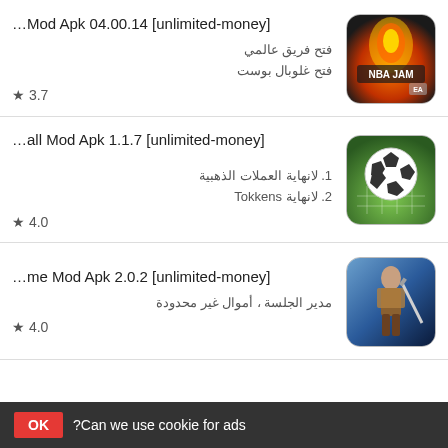...Mod Apk 04.00.14 [unlimited-money]
فتح فريق عالمي
فتح غلوبال بوست
★ 3.7
...all Mod Apk 1.1.7 [unlimited-money]
1. لانهاية العملات الذهبية
2. لانهاية Tokkens
★ 4.0
...me Mod Apk 2.0.2 [unlimited-money]
مدير الجلسة ، أموال غير محدودة
★ 4.0
OK ?Can we use cookie for ads